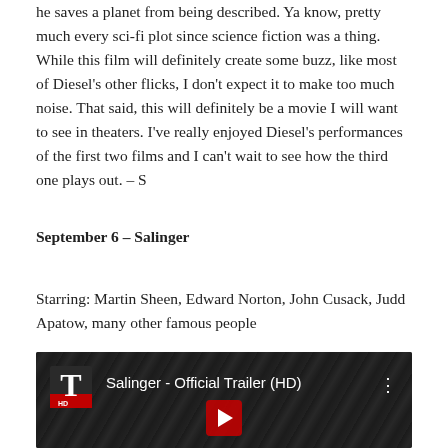he saves a planet from being described. Ya know, pretty much every sci-fi plot since science fiction was a thing. While this film will definitely create some buzz, like most of Diesel's other flicks, I don't expect it to make too much noise. That said, this will definitely be a movie I will want to see in theaters. I've really enjoyed Diesel's performances of the first two films and I can't wait to see how the third one plays out. – S
September 6 – Salinger
Starring: Martin Sheen, Edward Norton, John Cusack, Judd Apatow, many other famous people
[Figure (screenshot): YouTube video thumbnail for 'Salinger - Official Trailer (HD)' showing a dark background with a large letter T logo on the left, the video title in white text, and a three-dot menu icon on the right.]